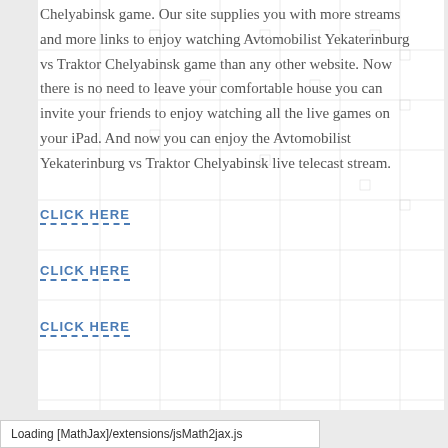Chelyabinsk game. Our site supplies you with more streams and more links to enjoy watching Avtomobilist Yekaterinburg vs Traktor Chelyabinsk game than any other website. Now there is no need to leave your comfortable house you can invite your friends to enjoy watching all the live games on your iPad. And now you can enjoy the Avtomobilist Yekaterinburg vs Traktor Chelyabinsk live telecast stream.
CLICK HERE
CLICK HERE
CLICK HERE
Loading [MathJax]/extensions/jsMath2jax.js